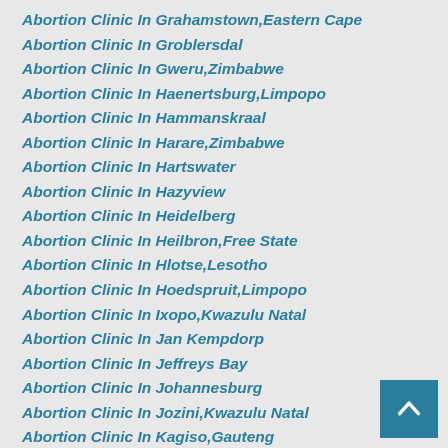Abortion Clinic In Grahamstown,Eastern Cape
Abortion Clinic In Groblersdal
Abortion Clinic In Gweru,Zimbabwe
Abortion Clinic In Haenertsburg,Limpopo
Abortion Clinic In Hammanskraal
Abortion Clinic In Harare,Zimbabwe
Abortion Clinic In Hartswater
Abortion Clinic In Hazyview
Abortion Clinic In Heidelberg
Abortion Clinic In Heilbron,Free State
Abortion Clinic In Hlotse,Lesotho
Abortion Clinic In Hoedspruit,Limpopo
Abortion Clinic In Ixopo,Kwazulu Natal
Abortion Clinic In Jan Kempdorp
Abortion Clinic In Jeffreys Bay
Abortion Clinic In Johannesburg
Abortion Clinic In Jozini,Kwazulu Natal
Abortion Clinic In Kagiso,Gauteng